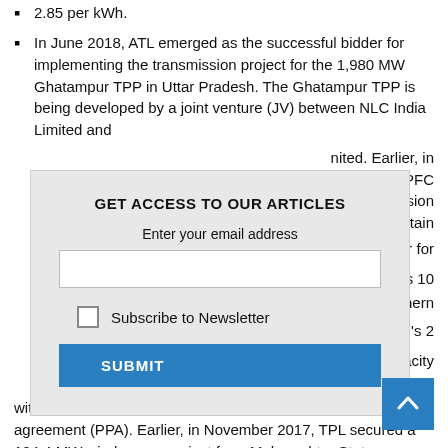2.85 per kWh.
In June 2018, ATL emerged as the successful bidder for implementing the transmission project for the 1,980 MW Ghatampur TPP in Uttar Pradesh. The Ghatampur TPP is being developed by a joint venture (JV) between NLC India Limited and [obscured by modal] nited. Earlier, in [obscured] from PFC [obscured] transmission [obscured] e and maintain
[obscured] owest bidder for [obscured] ine. The Rs 10 [obscured] gion-Northern
[obscured] winner in SECI's 2 [obscured] won a capacity [obscured] ommissioned within 18 months from the effective date of the power purchase agreement (PPA). Earlier, in November 2017, TPL secured a 124.4 MW wind power project from Maharashtra State Electricity Distribution Company Limited under the competitive bidding and e-reverse auction process.
In November 2017, Sembcorp Green Infra Limited secured a